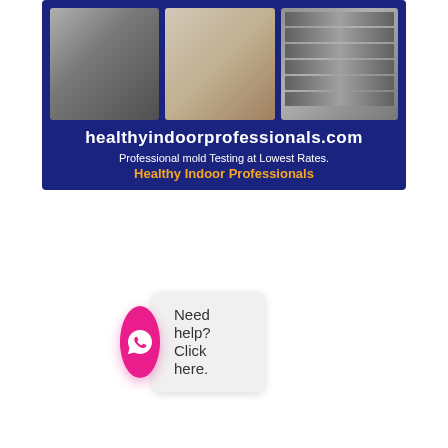[Figure (illustration): Advertisement banner for healthyindoorprofessionals.com on a dark navy blue background, featuring three photos (mold growth, a woman professional, x-ray grid images), the website URL in white bold text, tagline 'Professional mold Testing at Lowest Rates.' in white, and company name 'Healthy Indoor Professionals' in orange.]
Need help? Click here.